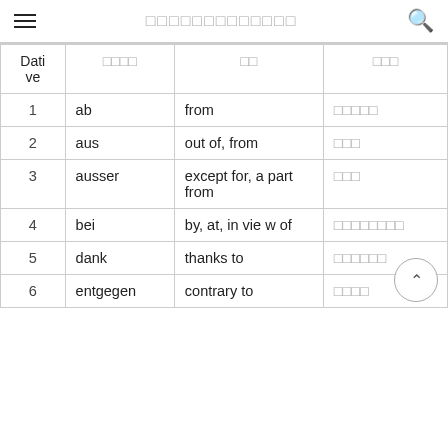□□□□□□□□□□□□□
| Dative | □□□□ | □□ | □□□ |
| --- | --- | --- | --- |
| 1 | ab | from | □□□□□ |
| 2 | aus | out of, from | □□□ |
| 3 | ausser | except for, a part from | □□□ |
| 4 | bei | by, at, in view of | □□□□□□□□ |
| 5 | dank | thanks to | □□□□□□ |
| 6 | entgegen | contrary to | □□□□ |